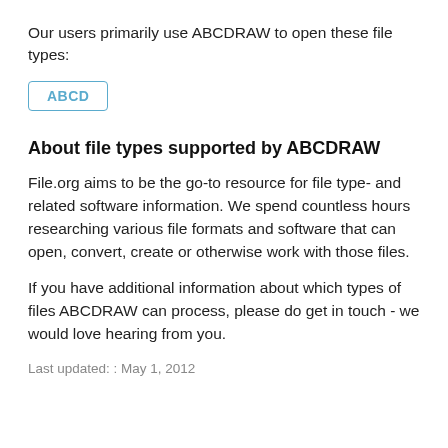Our users primarily use ABCDRAW to open these file types:
ABCD
About file types supported by ABCDRAW
File.org aims to be the go-to resource for file type- and related software information. We spend countless hours researching various file formats and software that can open, convert, create or otherwise work with those files.
If you have additional information about which types of files ABCDRAW can process, please do get in touch - we would love hearing from you.
Last updated: : May 1, 2012